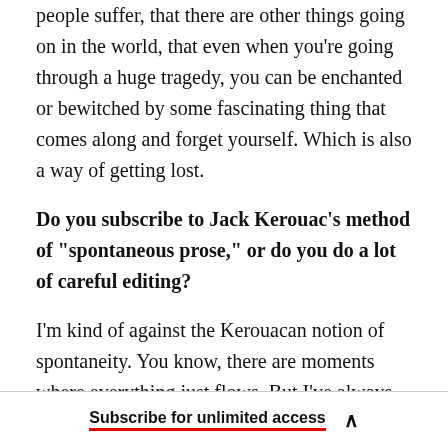people suffer, that there are other things going on in the world, that even when you're going through a huge tragedy, you can be enchanted or bewitched by some fascinating thing that comes along and forget yourself. Which is also a way of getting lost.
Do you subscribe to Jack Kerouac's method of "spontaneous prose," or do you do a lot of careful editing?
I'm kind of against the Kerouacan notion of spontaneity. You know, there are moments where everything just flows. But I've always been surprised
Subscribe for unlimited access